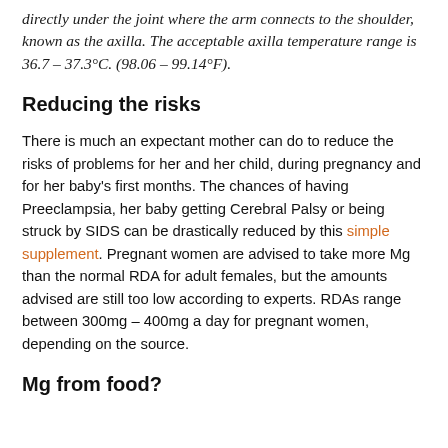directly under the joint where the arm connects to the shoulder, known as the axilla.  The acceptable axilla temperature range is 36.7 – 37.3°C. (98.06 – 99.14°F).
Reducing the risks
There is much an expectant mother can do to reduce the risks of problems for her and her child, during pregnancy and for her baby's first months.  The chances of having Preeclampsia, her baby getting Cerebral Palsy or being struck by SIDS can be drastically reduced by this simple supplement.  Pregnant women are advised to take more Mg than the normal RDA for adult females, but the amounts advised are still too low according to experts.  RDAs range between 300mg – 400mg a day for pregnant women, depending on the source.
Mg from food?